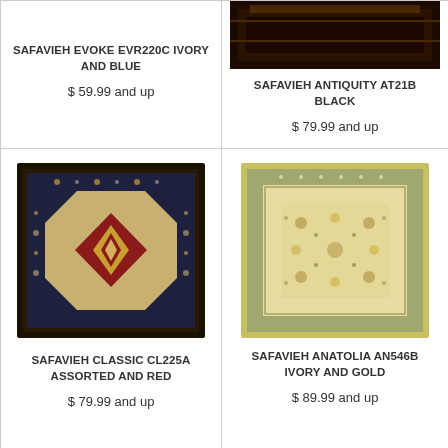SAFAVIEH EVOKE EVR220C IVORY AND BLUE
$ 59.99 and up
[Figure (photo): Safavieh Antiquity AT21B Black rug - dark colored oriental rug (partially visible, cut off at top)]
SAFAVIEH ANTIQUITY AT21B BLACK
$ 79.99 and up
[Figure (photo): Safavieh Classic CL225A Assorted and Red rug - red and dark medallion oriental rug]
SAFAVIEH CLASSIC CL225A ASSORTED AND RED
$ 79.99 and up
[Figure (photo): Safavieh Anatolia AN546B Ivory and Gold rug - cream/gold floral oriental rug]
SAFAVIEH ANATOLIA AN546B IVORY AND GOLD
$ 89.99 and up